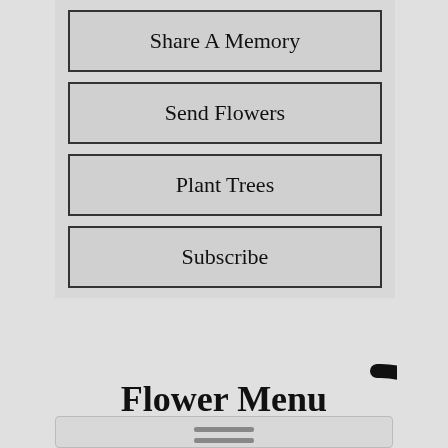Share A Memory
Send Flowers
Plant Trees
Subscribe
[Figure (infographic): A loading spinner arc (partial circle) overlapping the Subscribe button and the area below it]
Flower Menu
[Figure (infographic): Bottom section with two horizontal lines resembling a hamburger menu icon inside a box]